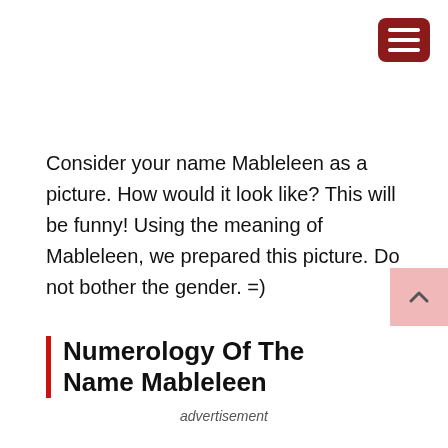[Figure (other): Hamburger menu button icon — dark red rounded rectangle with three white horizontal bars]
Consider your name Mableleen as a picture. How would it look like? This will be funny! Using the meaning of Mableleen, we prepared this picture. Do not bother the gender. =)
Numerology Of The Name Mableleen
[Figure (other): Scroll-to-top button — pink square with upward chevron arrow]
advertisement